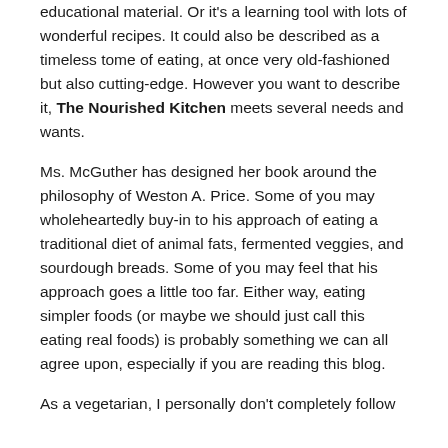educational material. Or it's a learning tool with lots of wonderful recipes. It could also be described as a timeless tome of eating, at once very old-fashioned but also cutting-edge. However you want to describe it, The Nourished Kitchen meets several needs and wants.
Ms. McGuther has designed her book around the philosophy of Weston A. Price. Some of you may wholeheartedly buy-in to his approach of eating a traditional diet of animal fats, fermented veggies, and sourdough breads. Some of you may feel that his approach goes a little too far. Either way, eating simpler foods (or maybe we should just call this eating real foods) is probably something we can all agree upon, especially if you are reading this blog.
As a vegetarian, I personally don't completely follow